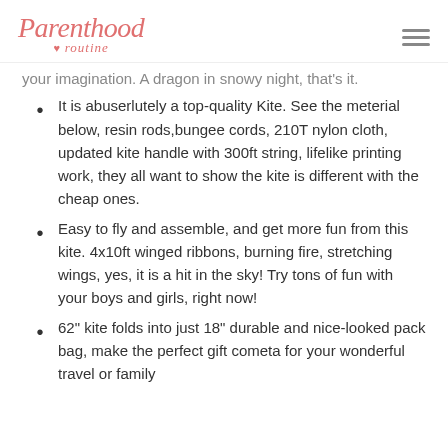Parenthood routine
your imagination. A dragon in snowy night, that's it.
It is abuserlutely a top-quality Kite. See the meterial below, resin rods,bungee cords, 210T nylon cloth, updated kite handle with 300ft string, lifelike printing work, they all want to show the kite is different with the cheap ones.
Easy to fly and assemble, and get more fun from this kite. 4x10ft winged ribbons, burning fire, stretching wings, yes, it is a hit in the sky! Try tons of fun with your boys and girls, right now!
62" kite folds into just 18" durable and nice-looked pack bag, make the perfect gift cometa for your wonderful travel or family